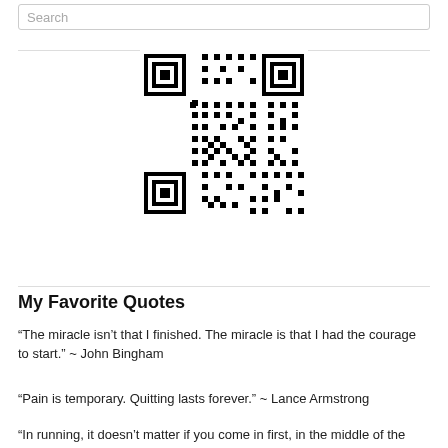Search
[Figure (other): QR code image, black and white square QR code centered on page]
My Favorite Quotes
“The miracle isn’t that I finished. The miracle is that I had the courage to start.” ~ John Bingham
“Pain is temporary. Quitting lasts forever.” ~ Lance Armstrong
“In running, it doesn’t matter if you come in first, in the middle of the